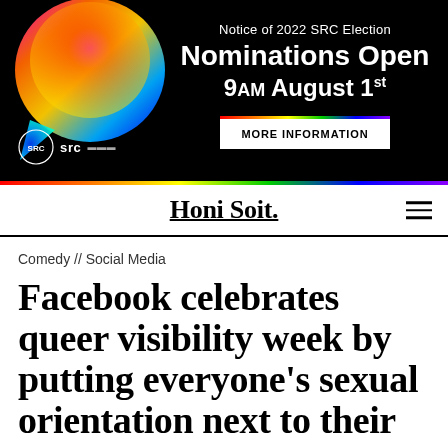[Figure (infographic): Black banner advertisement for 2022 SRC Election. Features colorful speech bubble graphic on left, white text announcing 'Notice of 2022 SRC Election', 'Nominations Open', '9AM August 1st', a 'MORE INFORMATION' button with rainbow border, SRC logo in bottom left, and rainbow bar along bottom.]
Honi Soit.
Comedy // Social Media
Facebook celebrates queer visibility week by putting everyone's sexual orientation next to their names